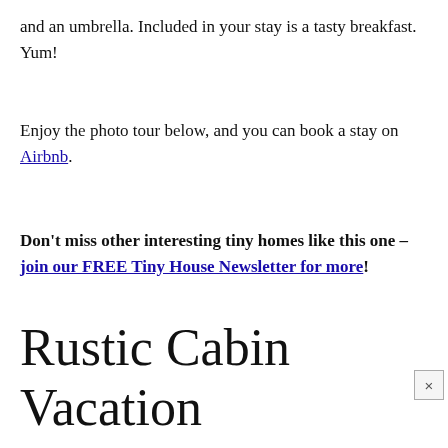and an umbrella. Included in your stay is a tasty breakfast. Yum!
Enjoy the photo tour below, and you can book a stay on Airbnb.
Don't miss other interesting tiny homes like this one – join our FREE Tiny House Newsletter for more!
Rustic Cabin Vacation Near Nashville